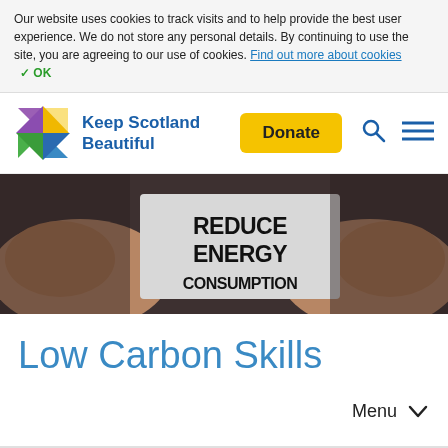Our website uses cookies to track visits and to help provide the best user experience. We do not store any personal details. By continuing to use the site, you are agreeing to our use of cookies. Find out more about cookies  ✓ OK
[Figure (logo): Keep Scotland Beautiful logo — colourful X-shaped pinwheel icon with blue text 'Keep Scotland Beautiful']
[Figure (photo): Hands holding a card reading 'REDUCE ENERGY CONSUMPTION' against a dark background]
Low Carbon Skills
Menu ∨